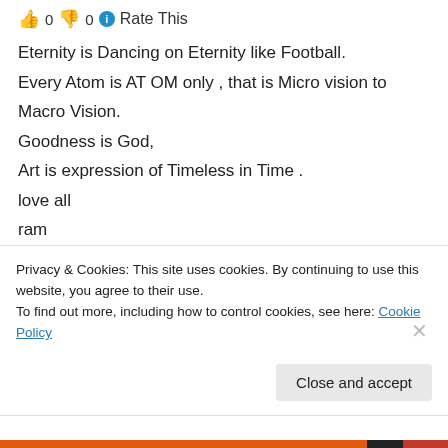👍 0 👎 0 ℹ Rate This
Eternity is Dancing on Eternity like Football.
Every Atom is AT OM only , that is Micro vision to Macro Vision.
Goodness is God,
Art is expression of Timeless in Time .
love all
ram
,
★ Liked by 1 person
Privacy & Cookies: This site uses cookies. By continuing to use this website, you agree to their use.
To find out more, including how to control cookies, see here: Cookie Policy
Close and accept